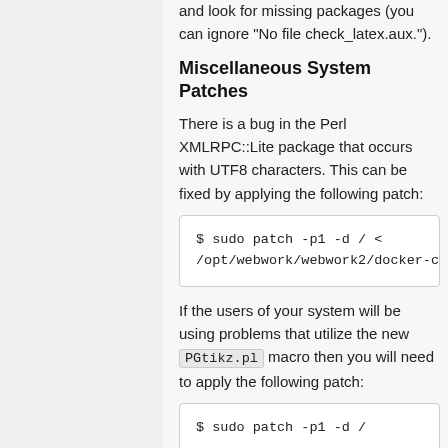and look for missing packages (you can ignore "No file check_latex.aux.").
Miscellaneous System Patches
There is a bug in the Perl XMLRPC::Lite package that occurs with UTF8 characters. This can be fixed by applying the following patch:
$ sudo patch -p1 -d / <
/opt/webwork/webwork2/docker-config/xmlrpc-lite-utf8-fix.patch
If the users of your system will be using problems that utilize the new PGtikz.pl macro then you will need to apply the following patch:
$ sudo patch -p1 -d /